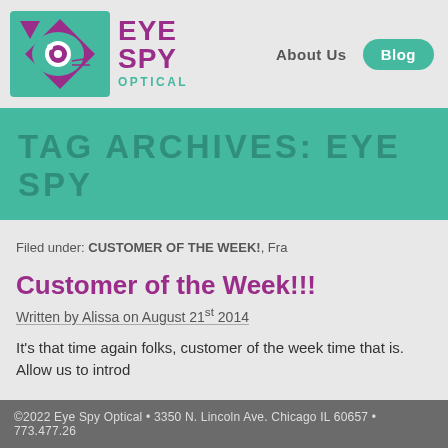[Figure (logo): Eye Spy Optical logo — teal square with cat/eye graphic and purple text reading EYE SPY OPTICAL]
About Us   Blog
TAG ARCHIVES: EYE SPY
Filed under: CUSTOMER OF THE WEEK!, Fra
Customer of the Week!!!
Written by Alissa on August 21st 2014
It's that time again folks, customer of the week time that is. Allow us to introd
©2022 Eye Spy Optical • 3350 N. Lincoln Ave. Chicago IL 60657 • 773.477.26